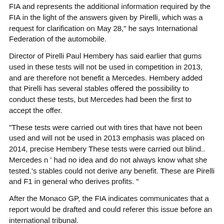FIA and represents the additional information required by the FIA in the light of the answers given by Pirelli, which was a request for clarification on May 28," he says International Federation of the automobile.
Director of Pirelli Paul Hembery has said earlier that gums used in these tests will not be used in competition in 2013, and are therefore not benefit a Mercedes. Hembery added that Pirelli has several stables offered the possibility to conduct these tests, but Mercedes had been the first to accept the offer.
"These tests were carried out with tires that have not been used and will not be used in 2013 emphasis was placed on 2014, precise Hembery These tests were carried out blind.. Mercedes n ' had no idea and do not always know what she tested.'s stables could not derive any benefit. These are Pirelli and F1 in general who derives profits. "
After the Monaco GP, the FIA indicates communicates that a report would be drafted and could referer this issue before an international tribunal.
In another communicates the FIA gave a warning Mercedes about his conduct and said that his court "may decide to impose penalties."
Red Bull and Lotus Mercedes have accused of conducting secret trials, that the stable was denied.